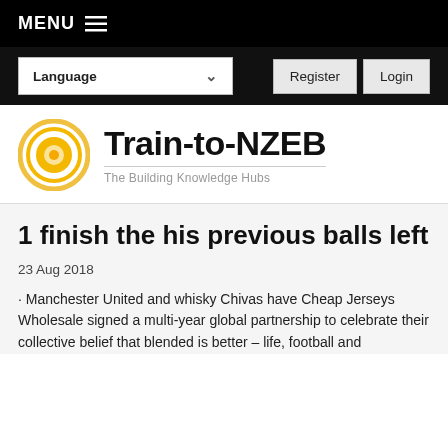MENU
Language
Register   Login
[Figure (logo): Train-to-NZEB logo: circular gold/orange concentric rings icon on the left, bold text 'Train-to-NZEB' on the right with subtitle 'The Building Knowledge Hubs']
1 finish the his previous balls left
23 Aug 2018
· Manchester United and whisky Chivas have Cheap Jerseys Wholesale signed a multi-year global partnership to celebrate their collective belief that blended is better – life, football and